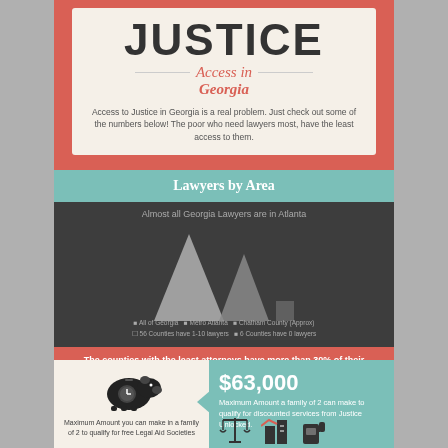JUSTICE
Access in Georgia
Access to Justice in Georgia is a real problem. Just check out some of the numbers below! The poor who need lawyers most, have the least access to them.
Lawyers by Area
[Figure (bar-chart): Almost all Georgia Lawyers are in Atlanta]
The counties with the least attorneys have more than 30% of their population living in poverty.
[Figure (illustration): Piggy bank icon]
Maximum Amount you can make in a family of 2 to qualify for free Legal Aid Societies
$63,000
Maximum Amount a family of 2 can make to qualify for discounted services from Justice Unlocked.